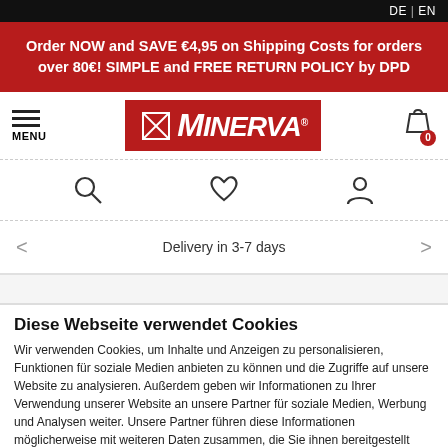DE | EN
Order NOW and SAVE €4,95 on Shipping Costs for orders over 80€! SIMPLE and FREE RETURN POLICY by DPD
[Figure (logo): Minerva brand logo with red background, stylized M and MINERVA text with registered trademark symbol]
MENU
[Figure (infographic): Navigation icons: search (magnifying glass), wishlist (heart), account (person)]
Delivery in 3-7 days
Diese Webseite verwendet Cookies
Wir verwenden Cookies, um Inhalte und Anzeigen zu personalisieren, Funktionen für soziale Medien anbieten zu können und die Zugriffe auf unsere Website zu analysieren. Außerdem geben wir Informationen zu Ihrer Verwendung unserer Website an unsere Partner für soziale Medien, Werbung und Analysen weiter. Unsere Partner führen diese Informationen möglicherweise mit weiteren Daten zusammen, die Sie ihnen bereitgestellt